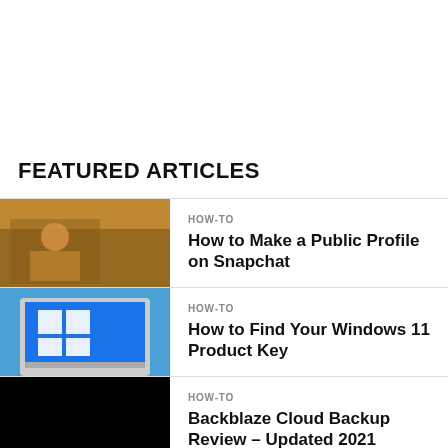FEATURED ARTICLES
HOW-TO | How to Make a Public Profile on Snapchat
HOW-TO | How to Find Your Windows 11 Product Key
HOW-TO | Backblaze Cloud Backup Review – Updated 2021
HOW-TO | How to Clear Google Chrome Cache, Cookies,